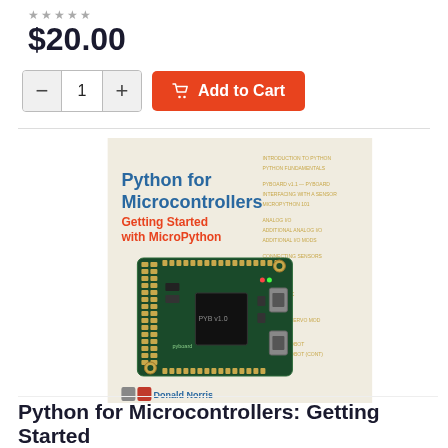★★★★★
$20.00
[Figure (screenshot): Quantity selector with minus button, 1, plus button, and orange Add to Cart button with shopping cart icon]
[Figure (photo): Book cover for 'Python for Microcontrollers: Getting Started with MicroPython' by Donald Norris, showing a MicroPython microcontroller board (Pyboard) on a book cover with blue and red title text, published by McGraw Hill]
Python for Microcontrollers: Getting Started